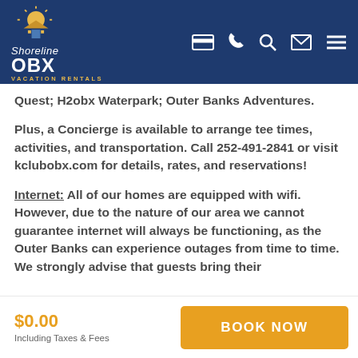Shoreline OBX Vacation Rentals
Quest; H2obx Waterpark; Outer Banks Adventures.

Plus, a Concierge is available to arrange tee times, activities, and transportation. Call 252-491-2841 or visit kclubobx.com for details, rates, and reservations!
Internet: All of our homes are equipped with wifi. However, due to the nature of our area we cannot guarantee internet will always be functioning, as the Outer Banks can experience outages from time to time. We strongly advise that guests bring their
$0.00
Including Taxes & Fees
BOOK NOW